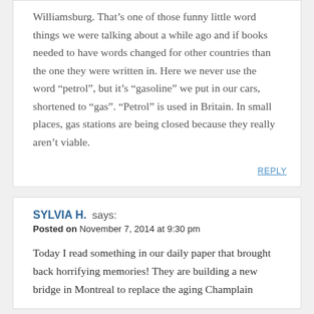Williamsburg. That’s one of those funny little word things we were talking about a while ago and if books needed to have words changed for other countries than the one they were written in. Here we never use the word “petrol”, but it’s “gasoline” we put in our cars, shortened to “gas”. “Petrol” is used in Britain. In small places, gas stations are being closed because they really aren’t viable.
REPLY
SYLVIA H. says:
Posted on November 7, 2014 at 9:30 pm
Today I read something in our daily paper that brought back horrifying memories! They are building a new bridge in Montreal to replace the aging Champlain